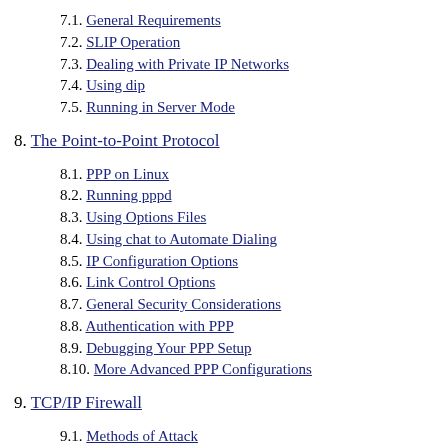7.1. General Requirements
7.2. SLIP Operation
7.3. Dealing with Private IP Networks
7.4. Using dip
7.5. Running in Server Mode
8. The Point-to-Point Protocol
8.1. PPP on Linux
8.2. Running pppd
8.3. Using Options Files
8.4. Using chat to Automate Dialing
8.5. IP Configuration Options
8.6. Link Control Options
8.7. General Security Considerations
8.8. Authentication with PPP
8.9. Debugging Your PPP Setup
8.10. More Advanced PPP Configurations
9. TCP/IP Firewall
9.1. Methods of Attack
9.2. What Is a Firewall?
9.3. What Is IP Filtering?
9.4. Setting Up Linux for Firewalling